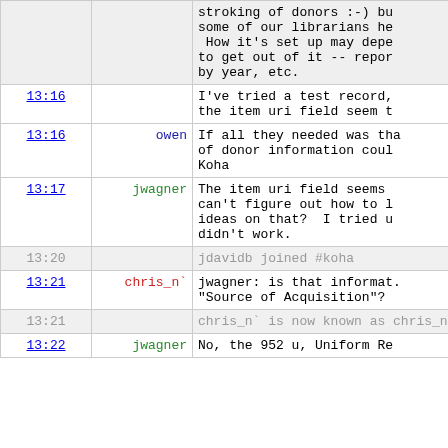| time | nick | message |
| --- | --- | --- |
|  |  | stroking of donors :-) bu some of our librarians he How it's set up may depe to get out of it -- repor by year, etc. |
| 13:16 |  | I've tried a test record, the item uri field seem t |
| 13:16 | owen | If all they needed was tha of donor information coul Koha |
| 13:17 | jwagner | The item uri field seems can't figure out how to l ideas on that?  I tried u didn't work. |
| 13:20 |  | jdavidb joined #koha |
| 13:21 | chris_n` | jwagner: is that informat. "Source of Acquisition"? |
| 13:21 |  | chris_n` is now known as chris_n |
| 13:22 | jwagner | No, the 952 u, Uniform Re |